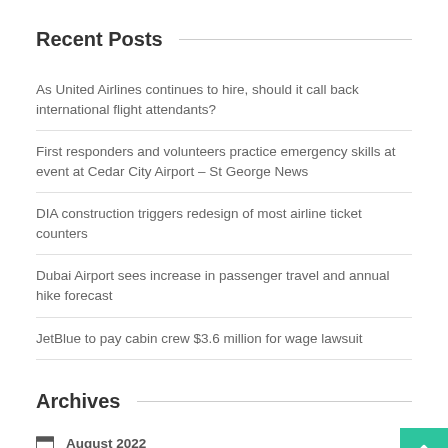Recent Posts
As United Airlines continues to hire, should it call back international flight attendants?
First responders and volunteers practice emergency skills at event at Cedar City Airport – St George News
DIA construction triggers redesign of most airline ticket counters
Dubai Airport sees increase in passenger travel and annual hike forecast
JetBlue to pay cabin crew $3.6 million for wage lawsuit
Archives
August 2022